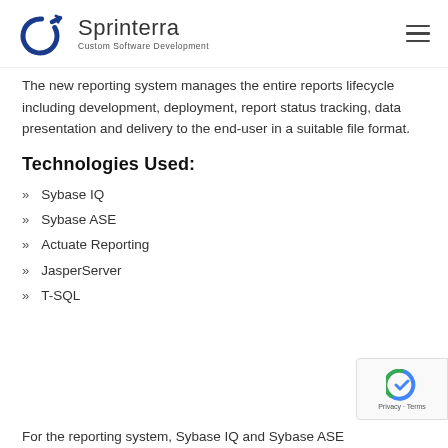Sprinterra – Custom Software Development
The new reporting system manages the entire reports lifecycle including development, deployment, report status tracking, data presentation and delivery to the end-user in a suitable file format.
Technologies Used:
Sybase IQ
Sybase ASE
Actuate Reporting
JasperServer
T-SQL
For the reporting system, Sybase IQ and Sybase ASE